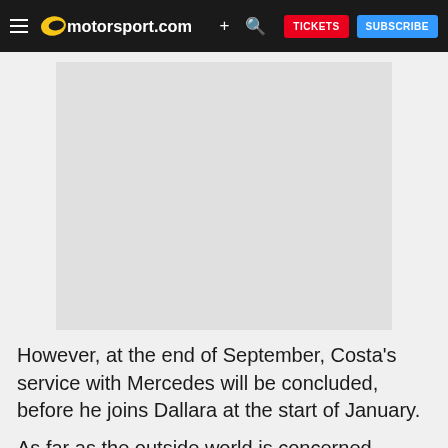motorsport.com — TICKETS  SUBSCRIBE
[Figure (photo): Image placeholder — article photo (light grey rectangle)]
However, at the end of September, Costa's service with Mercedes will be concluded, before he joins Dallara at the start of January.
As far as the outside world is concerned, Costa has been an almost silent partner at Mercedes